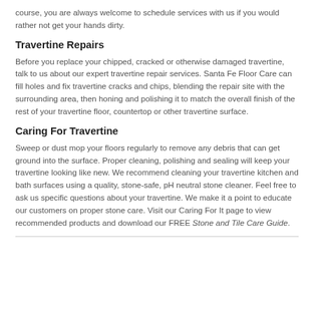course, you are always welcome to schedule services with us if you would rather not get your hands dirty.
Travertine Repairs
Before you replace your chipped, cracked or otherwise damaged travertine, talk to us about our expert travertine repair services. Santa Fe Floor Care can fill holes and fix travertine cracks and chips, blending the repair site with the surrounding area, then honing and polishing it to match the overall finish of the rest of your travertine floor, countertop or other travertine surface.
Caring For Travertine
Sweep or dust mop your floors regularly to remove any debris that can get ground into the surface. Proper cleaning, polishing and sealing will keep your travertine looking like new. We recommend cleaning your travertine kitchen and bath surfaces using a quality, stone-safe, pH neutral stone cleaner. Feel free to ask us specific questions about your travertine. We make it a point to educate our customers on proper stone care. Visit our Caring For It page to view recommended products and download our FREE Stone and Tile Care Guide.